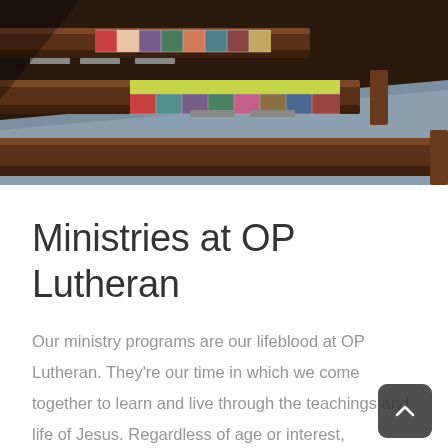[Figure (photo): Interior photo of a church showing wooden pews with colorful patchwork quilts draped over the backs, viewed from above at an angle. The floor is carpeted in blue-gray.]
Ministries at OP Lutheran
Our ministry programs are our lifeblood at OP Lutheran. They're our time in which we come together to learn and live through the teachings and life of Jesus. Regardless of age or interest, opportunities to serve and grow